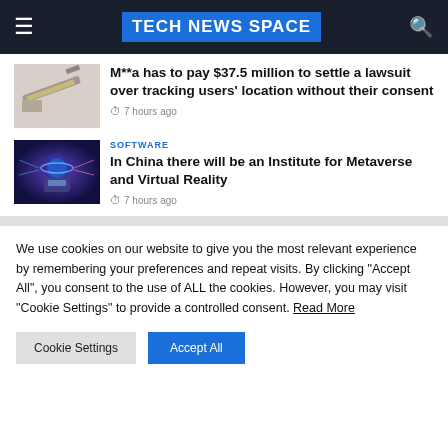TECH NEWS SPACE
[Figure (photo): Thumbnail image of a pen or writing instrument]
M**a has to pay $37.5 million to settle a lawsuit over tracking users' location without their consent
7 hours ago
SOFTWARE
[Figure (photo): Thumbnail image of a person in virtual reality gear with metaverse visuals]
In China there will be an Institute for Metaverse and Virtual Reality
7 hours ago
We use cookies on our website to give you the most relevant experience by remembering your preferences and repeat visits. By clicking "Accept All", you consent to the use of ALL the cookies. However, you may visit "Cookie Settings" to provide a controlled consent. Read More